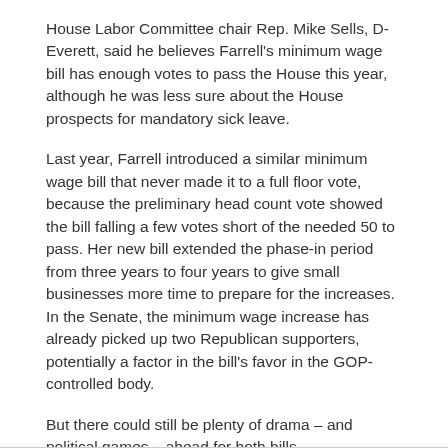House Labor Committee chair Rep. Mike Sells, D-Everett, said he believes Farrell's minimum wage bill has enough votes to pass the House this year, although he was less sure about the House prospects for mandatory sick leave.
Last year, Farrell introduced a similar minimum wage bill that never made it to a full floor vote, because the preliminary head count vote showed the bill falling a few votes short of the needed 50 to pass. Her new bill extended the phase-in period from three years to four years to give small businesses more time to prepare for the increases. In the Senate, the minimum wage increase has already picked up two Republican supporters, potentially a factor in the bill's favor in the GOP-controlled body.
But there could still be plenty of drama – and political games – ahead for both bills.
Distributed by Crosscut Public Media
Click here for more 2015 Olympia coverage.